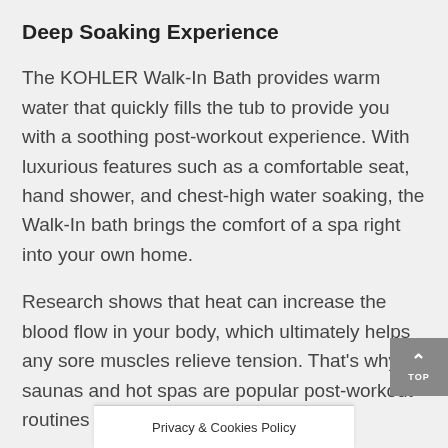Deep Soaking Experience
The KOHLER Walk-In Bath provides warm water that quickly fills the tub to provide you with a soothing post-workout experience. With luxurious features such as a comfortable seat, hand shower, and chest-high water soaking, the Walk-In bath brings the comfort of a spa right into your own home.
Research shows that heat can increase the blood flow in your body, which ultimately helps any sore muscles relieve tension. That’s why saunas and hot spas are popular post-workout routines for athlete
Privacy & Cookies Policy